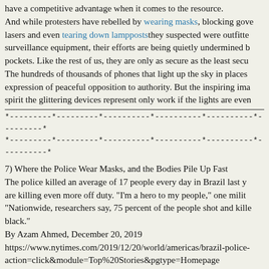have a competitive advantage when it comes to the resource. And while protesters have rebelled by wearing masks, blocking gove lasers and even tearing down lamppoststhey suspected were outfitted surveillance equipment, their efforts are being quietly undermined b pockets. Like the rest of us, they are only as secure as the least secu The hundreds of thousands of phones that light up the sky in places expression of peaceful opposition to authority. But the inspiring ima spirit the glittering devices represent only work if the lights are even
*---------*---------*----------*----------*----------*---------*
*---------*---------*----------*----------*----------*----------*
7) Where the Police Wear Masks, and the Bodies Pile Up Fast
The police killed an average of 17 people every day in Brazil last y are killing even more off duty. "I'm a hero to my people," one milit "Nationwide, researchers say, 75 percent of the people shot and kille black."
By Azam Ahmed, December 20, 2019
https://www.nytimes.com/2019/12/20/world/americas/brazil-police- action=click&module=Top%20Stories&pgtype=Homepage
[Figure (photo): Partial image of what appears to be a reddish-brown surface and blue tones, likely a photograph accompanying the article about Brazilian police.]